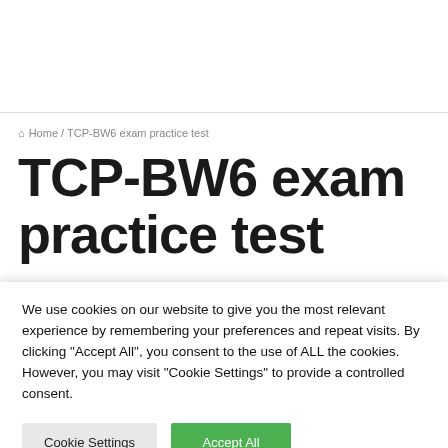Home / TCP-BW6 exam practice test
TCP-BW6 exam practice test
We use cookies on our website to give you the most relevant experience by remembering your preferences and repeat visits. By clicking "Accept All", you consent to the use of ALL the cookies. However, you may visit "Cookie Settings" to provide a controlled consent.
Cookie Settings | Accept All